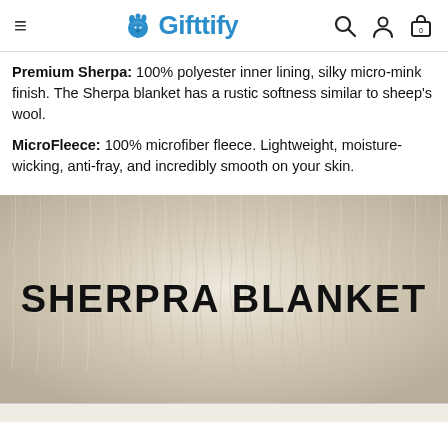Gifttify navigation header with hamburger menu, logo, search, account, and cart icons
Premium Sherpa: 100% polyester inner lining, silky micro-mink finish. The Sherpa blanket has a rustic softness similar to sheep's wool.
MicroFleece: 100% microfiber fleece. Lightweight, moisture-wicking, anti-fray, and incredibly smooth on your skin.
[Figure (photo): Close-up photo of fluffy white/cream sherpa blanket fabric texture with overlaid bold uppercase text reading 'SHERPRA BLANKET']